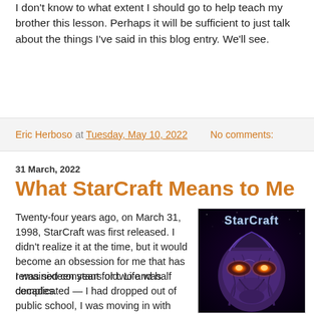I don't know to what extent I should go to help teach my brother this lesson. Perhaps it will be sufficient to just talk about the things I've said in this blog entry. We'll see.
Eric Herboso at Tuesday, May 10, 2022   No comments:
31 March, 2022
What StarCraft Means to Me
Twenty-four years ago, on March 31, 1998, StarCraft was first released. I didn't realize it at the time, but it would become an obsession for me that has remained constant for two and half decades.
[Figure (photo): StarCraft game cover image showing an alien Zerg creature with glowing orange eyes, with the StarCraft logo text above.]
I was sixteen years old. Life was complicated — I had dropped out of public school, I was moving in with